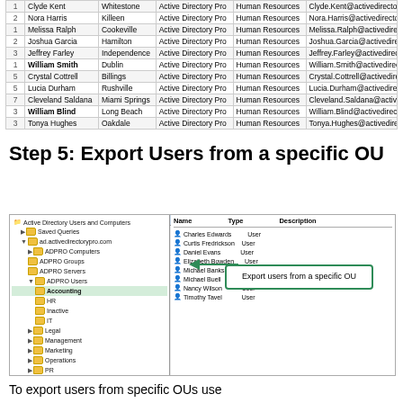| # | Name | City | App | Department | Email |
| --- | --- | --- | --- | --- | --- |
| 1 | Clyde Kent | Whitestone | Active Directory Pro | Human Resources | Clyde.Kent@activedirectorypro. |
| 2 | Nora Harris | Killeen | Active Directory Pro | Human Resources | Nora.Harris@activedirectorypro. |
| 1 | Melissa Ralph | Cookeville | Active Directory Pro | Human Resources | Melissa.Ralph@activedirectoryp |
| 2 | Joshua Garcia | Hamilton | Active Directory Pro | Human Resources | Joshua.Garcia@activedirectoryp |
| 3 | Jeffrey Farley | Independence | Active Directory Pro | Human Resources | Jeffrey.Farley@activedirectoryp |
| 1 | William Smith | Dublin | Active Directory Pro | Human Resources | William.Smith@activedirectoryp |
| 5 | Crystal Cottrell | Billings | Active Directory Pro | Human Resources | Crystal.Cottrell@activedirectory |
| 5 | Lucia Durham | Rushville | Active Directory Pro | Human Resources | Lucia.Durham@activedirectoryp |
| 7 | Cleveland Saldana | Miami Springs | Active Directory Pro | Human Resources | Cleveland.Saldana@activedirect |
| 3 | William Blind | Long Beach | Active Directory Pro | Human Resources | William.Blind@activedirectoryp |
| 3 | Tonya Hughes | Oakdale | Active Directory Pro | Human Resources | Tonya.Hughes@activedirectoryp |
Step 5: Export Users from a specific OU
[Figure (screenshot): Screenshot of Active Directory Users and Computers showing left tree panel with ADPRO Users expanded and Accounting OU highlighted, right panel showing users (Charles Edwards, Curtis Fredrickson, Daniel Evans, Elizabeth Bowden, Michael Banks, Michael Buell, Nancy Wilson, Timothy Tavel) with Type=User. A callout box says 'Export users from a specific OU' with an arrow pointing to Accounting OU.]
To export users from specific OUs use